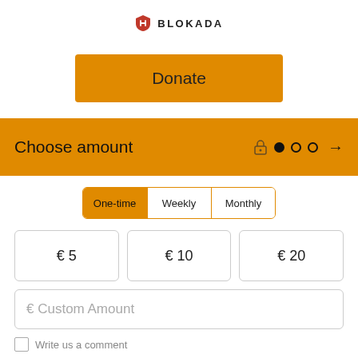[Figure (logo): Blokada shield logo icon with text BLOKADA]
Donate
Choose amount
One-time  Weekly  Monthly
€ 5
€ 10
€ 20
€ Custom Amount
Write us a comment